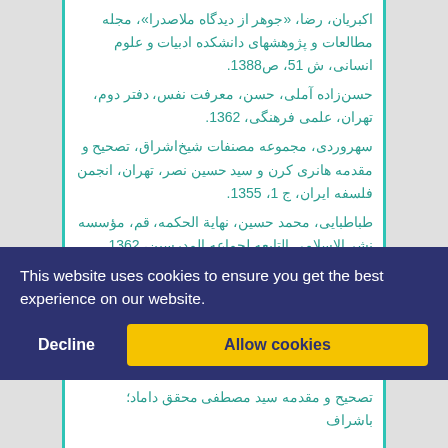اکبریان، رضا، «جوهر از دیدگاه ملاصدرا»، مجله مطالعات و پژوهشهای دانشکده ادبیات و علوم انسانی، ش 51، ص1388.
حسن‌زاده آملی، حسن، معرفت نفس، دفتر دوم، تهران، علمی فرهنگی، 1362.
سهروردی، مجموعه مصنفات شیخ‌اشراق، تصحیح و مقدمه هانری کرن و سید حسین نصر، تهران، انجمن فلسفه ایران، ج 1، 1355.
طباطبایی، محمد حسین، نهایة الحکمه، قم، مؤسسه نشر الاسلامی التابعه لجماعه المدرسین، 1362.
مصباح یزدی، محمدتقی، شرح جلد هشتم الاسفارالاربعة، بکوشش محمد سعیدی مهر، قم، انتشارات اسلامی، 1375.
This website uses cookies to ensure you get the best experience on our website.
تصحیح و مقدمه سید مصطفی محقق داماد؛ باشراف